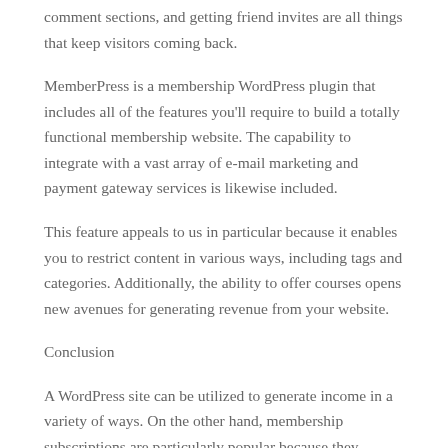comment sections, and getting friend invites are all things that keep visitors coming back.
MemberPress is a membership WordPress plugin that includes all of the features you'll require to build a totally functional membership website. The capability to integrate with a vast array of e-mail marketing and payment gateway services is likewise included.
This feature appeals to us in particular because it enables you to restrict content in various ways, including tags and categories. Additionally, the ability to offer courses opens new avenues for generating revenue from your website.
Conclusion
A WordPress site can be utilized to generate income in a variety of ways. On the other hand, membership subscriptions are particularly popular because they